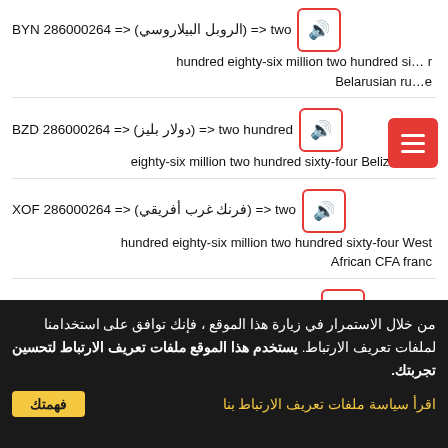286000264 BYN <= (الروبل البيلاروسي) <= two hundred eighty-six million two hundred sixty-four Belarusian ruble
286000264 BZD <= (دولار بليز) <= two hundred eighty-six million two hundred sixty-four Belize dollar
286000264 XOF <= (فرنك غرب أفريقي) <= two hundred eighty-six million two hundred sixty-four West African CFA franc
286000264 BTN <= (نولترم بوتاني) <= two hundred eighty-six million two hundred sixty-four Bhutanese ngultrum
من خلال الاستمرار في زيارة هذا الموقع ، فإنك توافق على استخدامنا لملفات تعريف الارتباط. يستخدم هذا الموقع ملفات تعريف الارتباط لتحسين تجربتك.
اقرأ سياسة ملفات تعريف الارتباط بنا   فهمتك